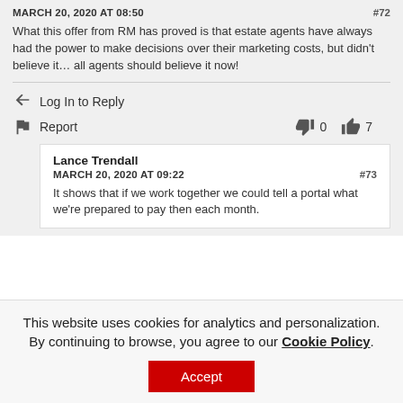MARCH 20, 2020 AT 08:50 #72
What this offer from RM has proved is that estate agents have always had the power to make decisions over their marketing costs, but didn't believe it… all agents should believe it now!
Log In to Reply
Report 0 7
Lance Trendall
MARCH 20, 2020 AT 09:22 #73
It shows that if we work together we could tell a portal what we're prepared to pay then each month.
This website uses cookies for analytics and personalization. By continuing to browse, you agree to our Cookie Policy. Accept